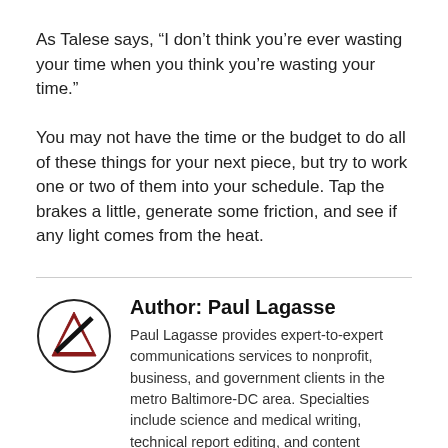As Talese says, “I don’t think you’re ever wasting your time when you think you’re wasting your time.”
You may not have the time or the budget to do all of these things for your next piece, but try to work one or two of them into your schedule. Tap the brakes a little, generate some friction, and see if any light comes from the heat.
Author: Paul Lagasse
Paul Lagasse provides expert-to-expert communications services to nonprofit, business, and government clients in the metro Baltimore-DC area. Specialties include science and medical writing, technical report editing, and content marketing.
View all posts by Paul Lagasse